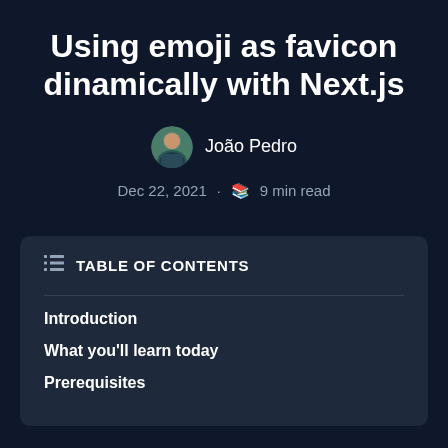Using emoji as favicon dinamically with Next.js
João Pedro
Dec 22, 2021 · 9 min read
TABLE OF CONTENTS
Introduction
What you'll learn today
Prerequisites